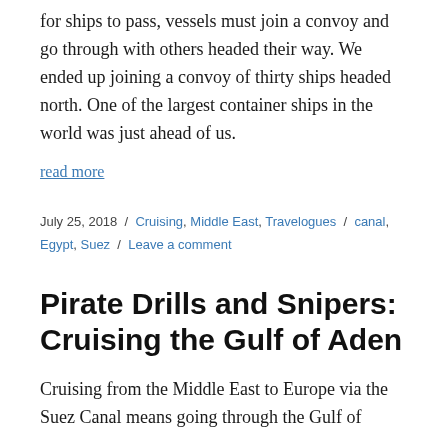for ships to pass, vessels must join a convoy and go through with others headed their way. We ended up joining a convoy of thirty ships headed north. One of the largest container ships in the world was just ahead of us.
read more
July 25, 2018 / Cruising, Middle East, Travelogues / canal, Egypt, Suez / Leave a comment
Pirate Drills and Snipers: Cruising the Gulf of Aden
Cruising from the Middle East to Europe via the Suez Canal means going through the Gulf of